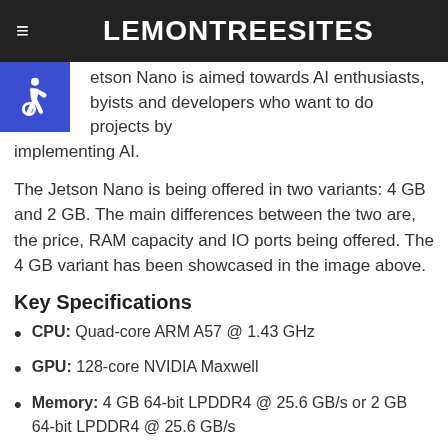LEMONTREESITES
speech processing and image classification.
Jetson Nano is aimed towards AI enthusiasts, hobbyists and developers who want to do projects by implementing AI.
The Jetson Nano is being offered in two variants: 4 GB and 2 GB. The main differences between the two are, the price, RAM capacity and IO ports being offered. The 4 GB variant has been showcased in the image above.
Key Specifications
CPU: Quad-core ARM A57 @ 1.43 GHz
GPU: 128-core NVIDIA Maxwell
Memory: 4 GB 64-bit LPDDR4 @ 25.6 GB/s or 2 GB 64-bit LPDDR4 @ 25.6 GB/s